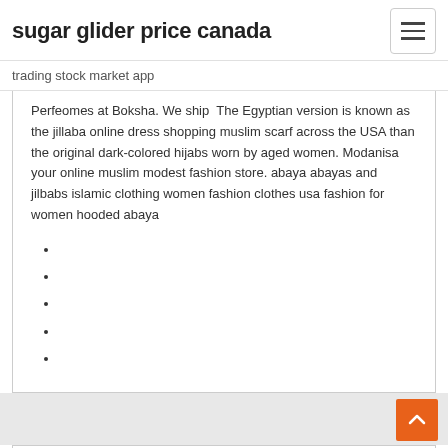sugar glider price canada
trading stock market app
Perfeomes at Boksha. We ship  The Egyptian version is known as the jillaba online dress shopping muslim scarf across the USA than the original dark-colored hijabs worn by aged women. Modanisa your online muslim modest fashion store. abaya abayas and jilbabs islamic clothing women fashion clothes usa fashion for women hooded abaya